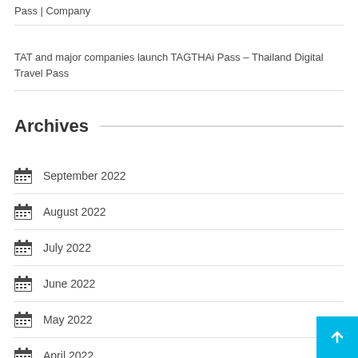Pass | Company
TAT and major companies launch TAGTHAi Pass – Thailand Digital Travel Pass
Archives
September 2022
August 2022
July 2022
June 2022
May 2022
April 2022
March 2022
February 2022